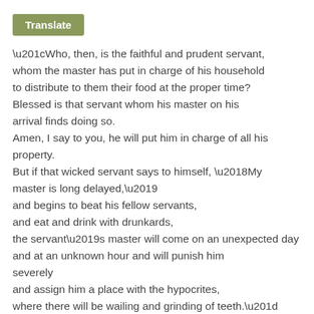Translate
“Who, then, is the faithful and prudent servant, whom the master has put in charge of his household to distribute to them their food at the proper time? Blessed is that servant whom his master on his arrival finds doing so.
Amen, I say to you, he will put him in charge of all his property.
But if that wicked servant says to himself, ‘My master is long delayed,’
and begins to beat his fellow servants,
and eat and drink with drunkards,
the servant’s master will come on an unexpected day and at an unknown hour and will punish him severely
and assign him a place with the hypocrites,
where there will be wailing and grinding of teeth.”